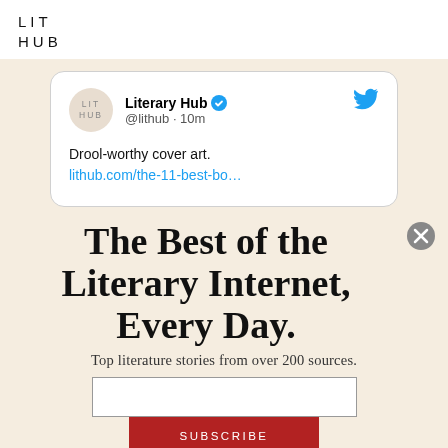LIT HUB
[Figure (screenshot): Embedded tweet card from Literary Hub (@lithub) posted 10 minutes ago. Text: 'Drool-worthy cover art. lithub.com/the-11-best-bo...' with verified badge and Twitter bird icon.]
The Best of the Literary Internet, Every Day.
Top literature stories from over 200 sources.